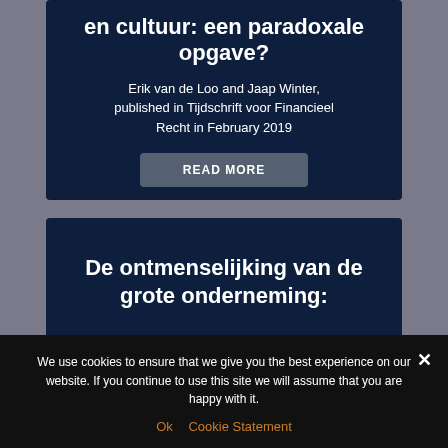en cultuur: een paradoxale opgave?
Erik van de Loo and Jaap Winter, published in Tijdschrift voor Financieel Recht in February 2019
READ MORE
De ontmenselijking van de grote onderneming:
We use cookies to ensure that we give you the best experience on our website. If you continue to use this site we will assume that you are happy with it.
Ok   Cookie Statement